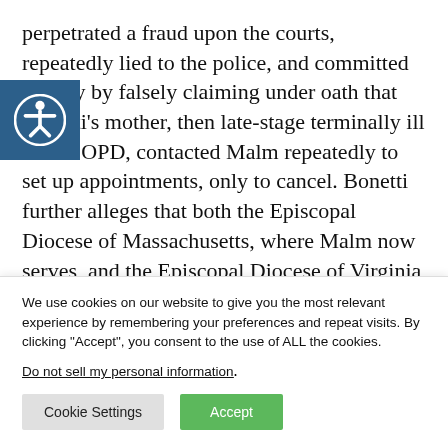perpetrated a fraud upon the courts, repeatedly lied to the police, and committed perjury by falsely claiming under oath that Bonetti's mother, then late-stage terminally ill with COPD, contacted Malm repeatedly to set up appointments, only to cancel. Bonetti further alleges that both the Episcopal Diocese of Massachusetts, where Malm now serves, and the Episcopal Diocese of Virginia have with held…
We use cookies on our website to give you the most relevant experience by remembering your preferences and repeat visits. By clicking "Accept", you consent to the use of ALL the cookies.
Do not sell my personal information.